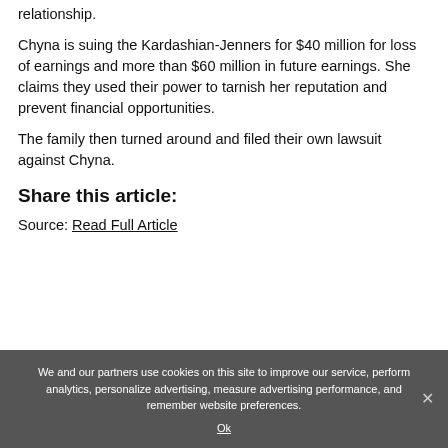relationship.
Chyna is suing the Kardashian-Jenners for $40 million for loss of earnings and more than $60 million in future earnings. She claims they used their power to tarnish her reputation and prevent financial opportunities.
The family then turned around and filed their own lawsuit against Chyna.
Share this article:
Source: Read Full Article
We and our partners use cookies on this site to improve our service, perform analytics, personalize advertising, measure advertising performance, and remember website preferences.
Ok